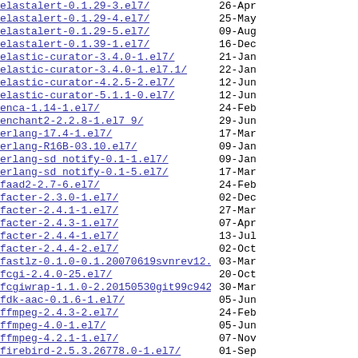elastalert-0.1.29-3.el7/  26-Apr
elastalert-0.1.29-4.el7/  25-May
elastalert-0.1.29-5.el7/  09-Aug
elastalert-0.1.39-1.el7/  16-Dec
elastic-curator-3.4.0-1.el7/  21-Jan
elastic-curator-3.4.0-1.el7.1/  22-Jan
elastic-curator-4.2.5-2.el7/  12-Jun
elastic-curator-5.1.1-0.el7/  12-Jun
enca-1.14-1.el7/  24-Feb
enchant2-2.2.8-1.el7_9/  29-Jun
erlang-17.4-1.el7/  17-Mar
erlang-R16B-03.10.el7/  09-Jan
erlang-sd_notify-0.1-1.el7/  09-Jan
erlang-sd_notify-0.1-5.el7/  17-Mar
faad2-2.7-6.el7/  24-Feb
facter-2.3.0-1.el7/  02-Dec
facter-2.4.1-1.el7/  27-Mar
facter-2.4.3-1.el7/  07-Apr
facter-2.4.4-1.el7/  13-Jul
facter-2.4.4-2.el7/  02-Oct
fastlz-0.1.0-0.1.20070619svnrev12.el7/  03-Mar
fcgi-2.4.0-25.el7/  20-Oct
fcgiwrap-1.1.0-2.20150530git99c942c.el7/  30-Mar
fdk-aac-0.1.6-1.el7/  05-Jun
ffmpeg-2.4.3-2.el7/  24-Feb
ffmpeg-4.0-1.el7/  05-Jun
ffmpeg-4.2.1-1.el7/  07-Nov
firebird-2.5.3.26778.0-1.el7/  01-Sep
flashrom-1.1-2.el7/  23-Jan
fpinq-3.5-3.el7/  12-May